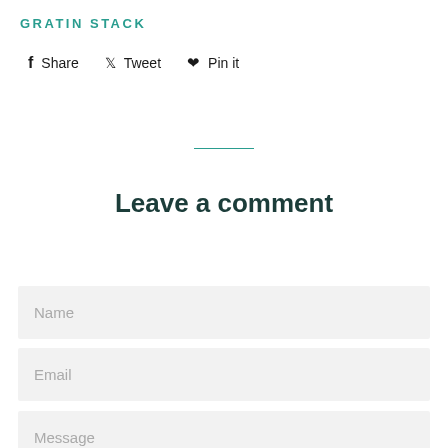GRATIN STACK
f Share   🐦 Tweet   ♡ Pin it
Leave a comment
Name
Email
Message